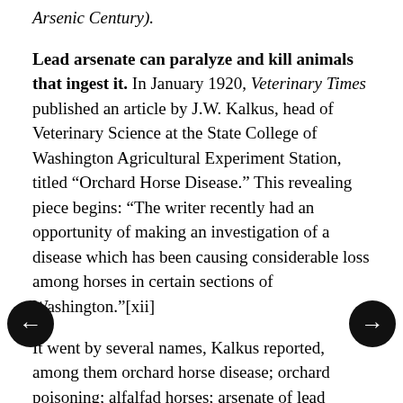Arsenic Century).
Lead arsenate can paralyze and kill animals that ingest it. In January 1920, Veterinary Times published an article by J.W. Kalkus, head of Veterinary Science at the State College of Washington Agricultural Experiment Station, titled “Orchard Horse Disease.” This revealing piece begins: “The writer recently had an opportunity of making an investigation of a disease which has been causing considerable loss among horses in certain sections of Washington.”[xii]
It went by several names, Kalkus reported, among them orchard horse disease; orchard poisoning; alfalfad horses; arsenate of lead poisoning; mold poisoning.
Regardless of the name, the circumstances